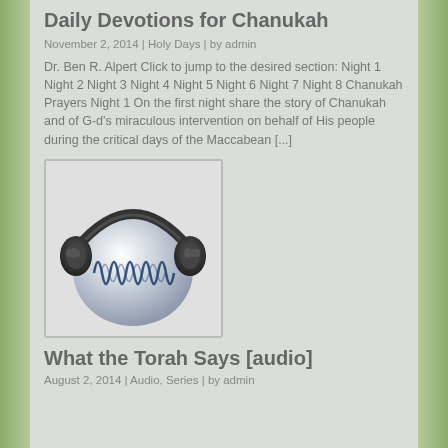Daily Devotions for Chanukah
November 2, 2014 | Holy Days | by admin
Dr. Ben R. Alpert Click to jump to the desired section: Night 1 Night 2 Night 3 Night 4 Night 5 Night 6 Night 7 Night 8 Chanukah Prayers Night 1 On the first night share the story of Chanukah and of G-d's miraculous intervention on behalf of His people during the critical days of the Maccabean [...]
[Figure (illustration): Headphones icon with audio waveform — a silver ball with a blue waveform graphic, wearing black/silver over-ear headphones]
What the Torah Says [audio]
August 2, 2014 | Audio, Series | by admin